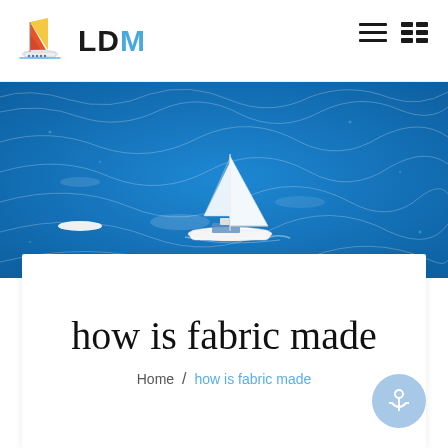[Figure (logo): LDM sailboat logo with colorful sail and text LDM]
[Figure (photo): Aerial view of a white sailboat on deep blue ocean water with small dinghy nearby]
how is fabric made
Home / how is fabric made